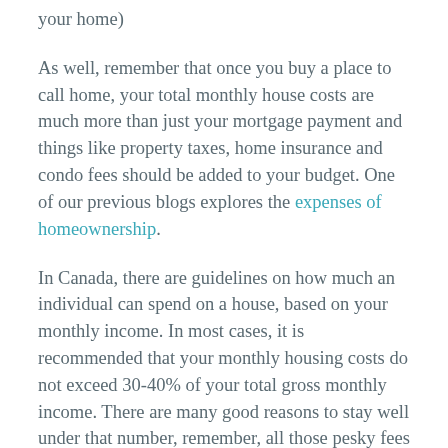your home)
As well, remember that once you buy a place to call home, your total monthly house costs are much more than just your mortgage payment and things like property taxes, home insurance and condo fees should be added to your budget. One of our previous blogs explores the expenses of homeownership.
In Canada, there are guidelines on how much an individual can spend on a house, based on your monthly income. In most cases, it is recommended that your monthly housing costs do not exceed 30-40% of your total gross monthly income. There are many good reasons to stay well under that number, remember, all those pesky fees and your monthly house costs we discussed above? They stack up fast and can leave you “house broke” if you are not careful.